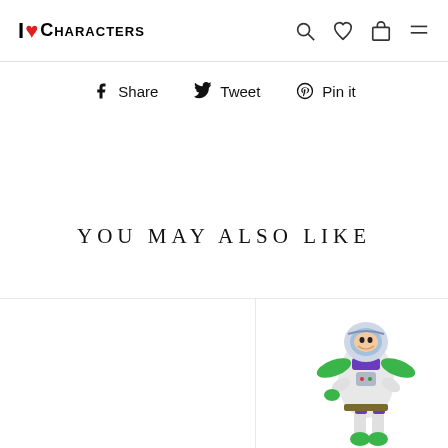I ❤ Characters — navigation header with search, wishlist, bag, and menu icons
Share  Tweet  Pin it
YOU MAY ALSO LIKE
[Figure (photo): Buzz Lightyear toy figure, partially visible at bottom-right corner of the page]